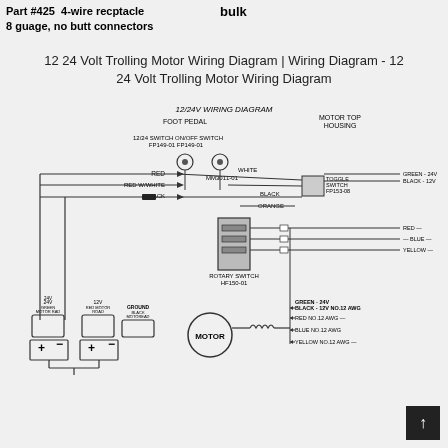Part #425  4-wire recptacle
8 guage, no butt connectors
bulk
12 24 Volt Trolling Motor Wiring Diagram | Wiring Diagram - 12 24 Volt Trolling Motor Wiring Diagram
[Figure (schematic): 12/24V wiring diagram showing foot pedal with 12/24 switch (FP149-01) and ON/OFF switch (FP149-01), motor top housing with toggle switch (FP153-08), rotary switch (HF150-01), motor connector (MM3011-01), and motor with wire connections: GREEN-24V, BLACK-12V NO.12 AWG, RED NO.12 AWG, BLUE NO.12 AWG, YELLOW NO.12 AWG. Two batteries shown at lower left: 24V (green motor lead, red motor lead) and 12V (red motor lead) with GROUND (black motor lead) connections marked with + and - terminals.]
↑